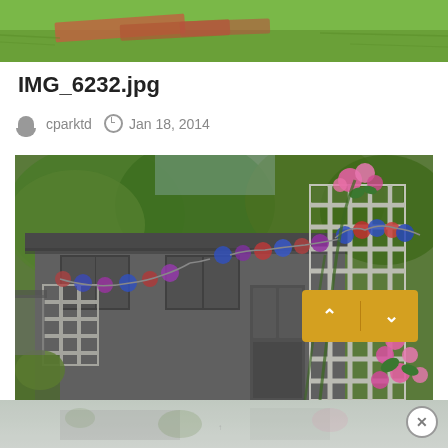[Figure (photo): Top portion of outdoor garden/lawn photo showing grass and a brick path]
IMG_6232.jpg
cparktd  Jan 18, 2014
[Figure (photo): Garden shed decorated with colorful balloon garland and lattice trellis with pink climbing roses and flowers]
[Figure (photo): Bottom strip preview thumbnail of the same garden image]